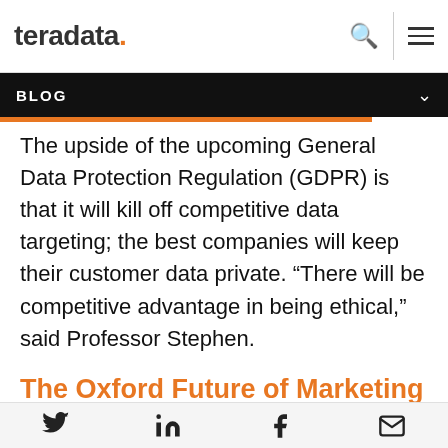teradata. [search icon] [menu icon]
BLOG
The upside of the upcoming General Data Protection Regulation (GDPR) is that it will kill off competitive data targeting; the best companies will keep their customer data private. “There will be competitive advantage in being ethical,” said Professor Stephen.
The Oxford Future of Marketing Initiative and the future
Twitter LinkedIn Facebook Email